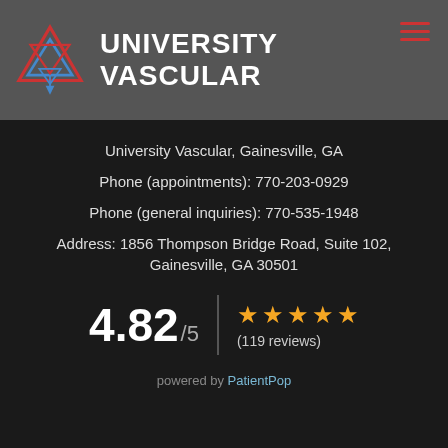[Figure (logo): University Vascular logo with overlapping triangles in red and blue, and brand name 'UNIVERSITY VASCULAR']
University Vascular, Gainesville, GA
Phone (appointments): 770-203-0929
Phone (general inquiries): 770-535-1948
Address: 1856 Thompson Bridge Road, Suite 102, Gainesville, GA 30501
4.82 / 5  ★★★★★  (119 reviews)
powered by PatientPop